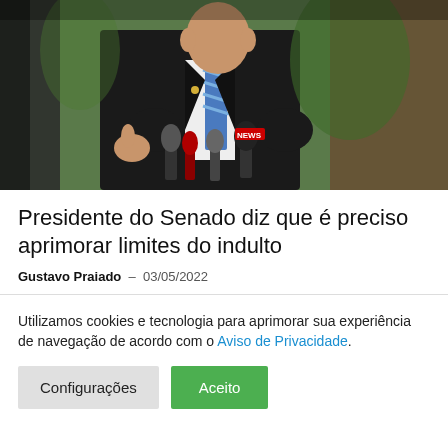[Figure (photo): A man in a black suit with a blue striped tie giving a thumbs-up gesture at a press conference with multiple microphones in front of him, including one labeled NEWS. Other people are partially visible in the foreground and background.]
Presidente do Senado diz que é preciso aprimorar limites do indulto
Gustavo Praiado  –  03/05/2022
Utilizamos cookies e tecnologia para aprimorar sua experiência de navegação de acordo com o Aviso de Privacidade.